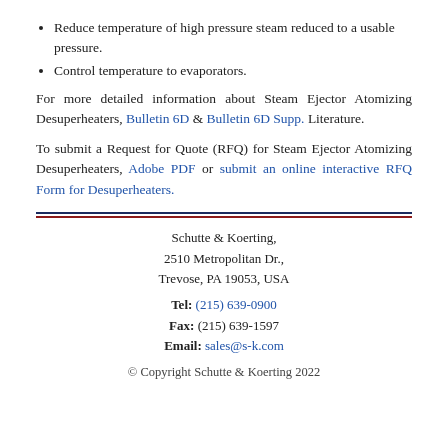Reduce temperature of high pressure steam reduced to a usable pressure.
Control temperature to evaporators.
For more detailed information about Steam Ejector Atomizing Desuperheaters, Bulletin 6D & Bulletin 6D Supp. Literature.
To submit a Request for Quote (RFQ) for Steam Ejector Atomizing Desuperheaters, Adobe PDF or submit an online interactive RFQ Form for Desuperheaters.
Schutte & Koerting,
2510 Metropolitan Dr.,
Trevose, PA 19053, USA
Tel: (215) 639-0900
Fax: (215) 639-1597
Email: sales@s-k.com
© Copyright Schutte & Koerting 2022